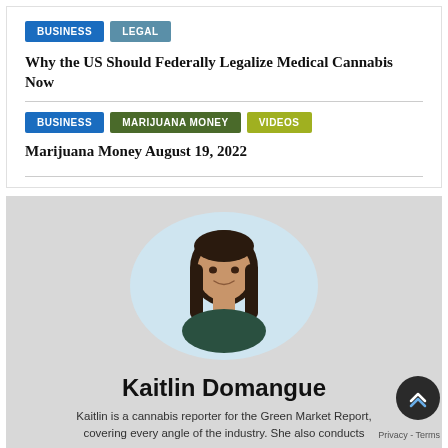BUSINESS | LEGAL
Why the US Should Federally Legalize Medical Cannabis Now
BUSINESS | MARIJUANA MONEY | VIDEOS
Marijuana Money August 19, 2022
[Figure (photo): Portrait photo of Kaitlin Domangue, a young woman with long dark hair, smiling, displayed in an oval/elliptical frame with light blue background]
Kaitlin Domangue
Kaitlin is a cannabis reporter for the Green Market Report, covering every angle of the industry. She also conducts